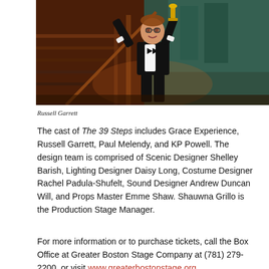[Figure (photo): A man in a black tuxedo and bow tie holds a trophy/statue aloft on a theatrical stage set featuring a grand staircase with dark wood paneling and warm lighting. The performer is Russell Garrett.]
Russell Garrett
The cast of The 39 Steps includes Grace Experience, Russell Garrett, Paul Melendy, and KP Powell. The design team is comprised of Scenic Designer Shelley Barish, Lighting Designer Daisy Long, Costume Designer Rachel Padula-Shufelt, Sound Designer Andrew Duncan Will, and Props Master Emme Shaw. Shauwna Grillo is the Production Stage Manager.
For more information or to purchase tickets, call the Box Office at Greater Boston Stage Company at (781) 279-2200, or visit www.greaterbostonstage.org